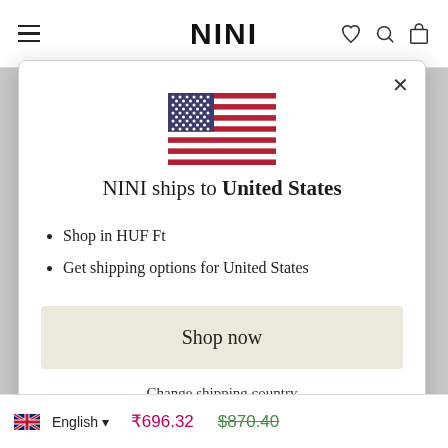NINI
[Figure (screenshot): US flag emoji / illustration in the modal dialog]
NINI ships to United States
Shop in HUF Ft
Get shipping options for United States
Shop now
Change shipping country
English  ₹696.32  $870.40